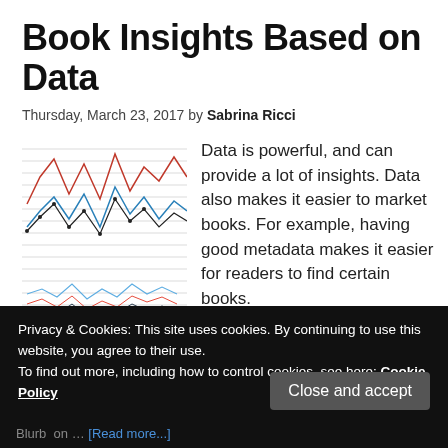Book Insights Based on Data
Thursday, March 23, 2017 by Sabrina Ricci
[Figure (continuous-plot): Multi-line wavy chart with red, blue, and dark lines showing fluctuating data trends over time with horizontal gridlines]
Data is powerful, and can provide a lot of insights. Data also makes it easier to market books. For example, having good metadata makes it easier for readers to find certain books.
Privacy & Cookies: This site uses cookies. By continuing to use this website, you agree to their use.
To find out more, including how to control cookies, see here: Cookie Policy
Blurb  on … [Read more...]